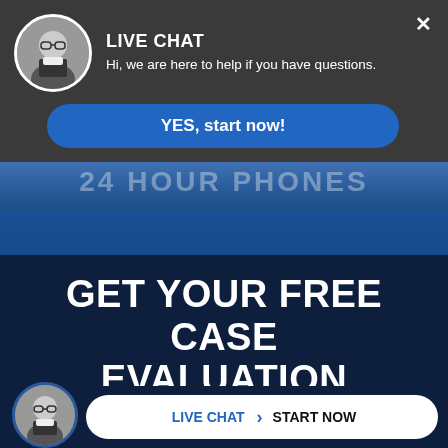[Figure (screenshot): Live chat popup widget with attorney photo avatar, 'LIVE CHAT' heading, subtitle text, and blue YES button]
GET YOUR FREE CASE EVALUATION
Mitchell S. Sexner & Associates LLC Attorneys At Law are here to assist you with your legal issues. Please fill out the form...on or
[Figure (screenshot): Bottom bar with attorney photo avatar and LIVE CHAT > START NOW button]